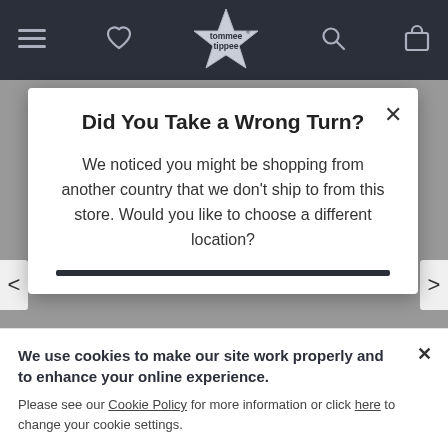[Figure (screenshot): Tommee Tippee website header navigation bar with hamburger menu, heart/wishlist icon, star logo, search icon, and bag icon on dark background]
Did You Take a Wrong Turn?
We noticed you might be shopping from another country that we don't ship to from this store. Would you like to choose a different location?
We use cookies to make our site work properly and to enhance your online experience.
Please see our Cookie Policy for more information or click here to change your cookie settings.